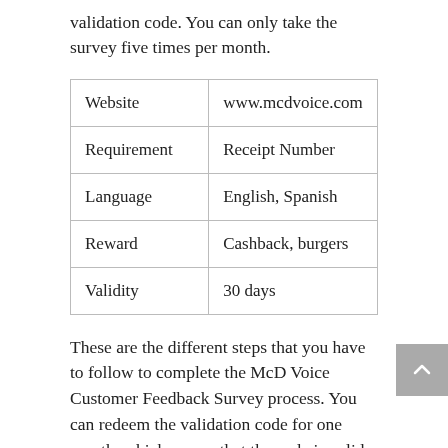validation code. You can only take the survey five times per month.
| Website | www.mcdvoice.com |
| Requirement | Receipt Number |
| Language | English, Spanish |
| Reward | Cashback, burgers |
| Validity | 30 days |
These are the different steps that you have to follow to complete the McD Voice Customer Feedback Survey process. You can redeem the validation code for one month, which means that the code is valid for 30 days. The offers keep